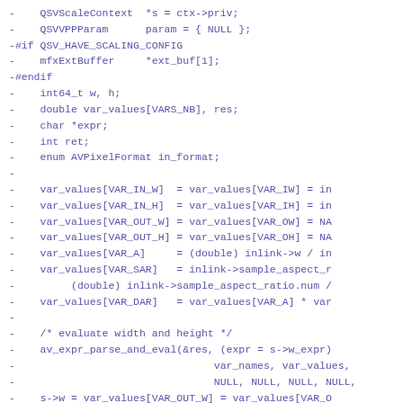code diff showing removal of QSV scaling context variables and var_values assignments